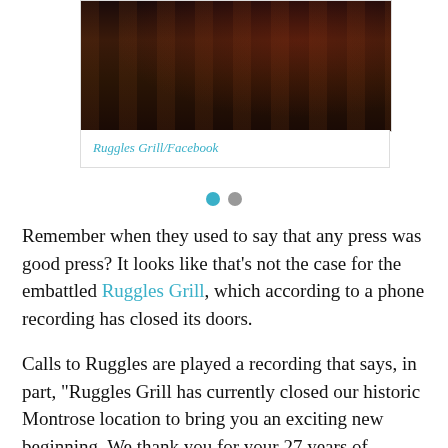[Figure (photo): Dark interior photo of Ruggles Grill restaurant, showing columns and silhouetted figures with red lighting.]
Ruggles Grill/Facebook
Remember when they used to say that any press was good press? It looks like that's not the case for the embattled Ruggles Grill, which according to a phone recording has closed its doors.
Calls to Ruggles are played a recording that says, in part, "Ruggles Grill has currently closed our historic Montrose location to bring you an exciting new beginning. We thank you for your 27 years of loyalty."